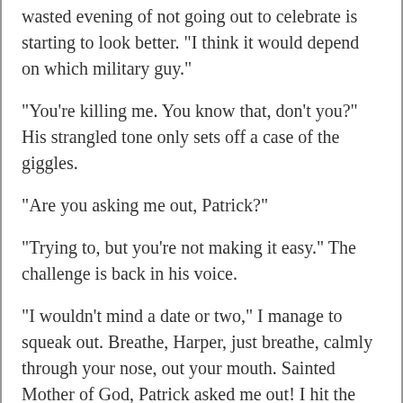wasted evening of not going out to celebrate is starting to look better. "I think it would depend on which military guy."
"You're killing me. You know that, don't you?" His strangled tone only sets off a case of the giggles.
"Are you asking me out, Patrick?"
"Trying to, but you're not making it easy." The challenge is back in his voice.
"I wouldn't mind a date or two," I manage to squeak out. Breathe, Harper, just breathe, calmly through your nose, out your mouth. Sainted Mother of God, Patrick asked me out! I hit the jackpot! Now all I have to do is not hit him.